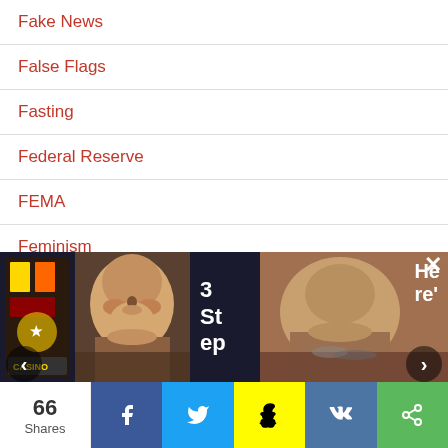Fake News
False Flags
Fasting
Federal Reserve
FEMA
Feminism
Finance
Fluoride
Forbidden History
[Figure (photo): Advertisement banner with two photos and text '3 Steps' and 'Here's']
66 Shares — social share bar with Facebook, Twitter, Snapchat, VK, and share buttons